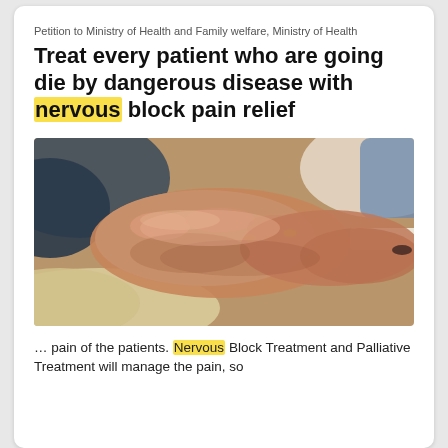Petition to Ministry of Health and Family welfare, Ministry of Health
Treat every patient who are going die by dangerous disease with nervous block pain relief
[Figure (photo): Close-up photograph of elderly and younger hands clasped together in a comforting hold, suggesting palliative care or support.]
… pain of the patients. Nervous Block Treatment and Palliative Treatment will manage the pain, so